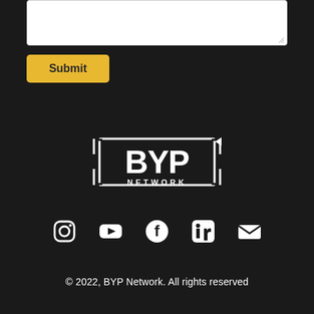[Figure (other): White textarea input box at top of page]
[Figure (other): Yellow Submit button]
[Figure (logo): BYP Network logo in white on dark background — bracket-enclosed BYP text with NETWORK below]
[Figure (other): Row of social media icons: Instagram, YouTube, Facebook, LinkedIn, Email/envelope]
© 2022, BYP Network. All rights reserved